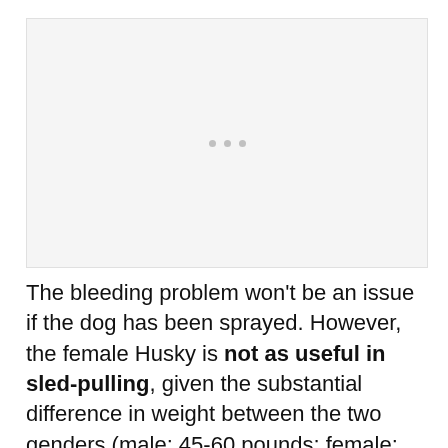[Figure (photo): Placeholder image area with three grey dots indicating an image loading or unavailable state]
The bleeding problem won't be an issue if the dog has been sprayed. However, the female Husky is not as useful in sled-pulling, given the substantial difference in weight between the two genders (male: 45-60 pounds; female: 35-50 pounds).